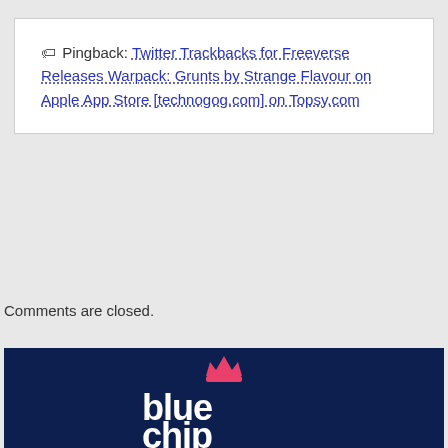🏷 Pingback: Twitter Trackbacks for Freeverse Releases Warpack: Grunts by Strange Flavour on Apple App Store [technogog.com] on Topsy.com
Comments are closed.
[Figure (logo): Blue Chip logo on dark navy background — white bold text reading 'blue chip' with a pink crown above the 'e' in 'blue']